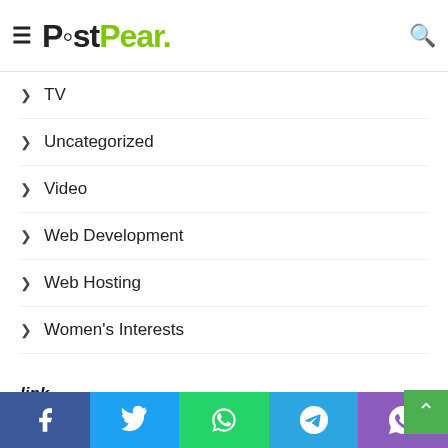PostPear
TV
Uncategorized
Video
Web Development
Web Hosting
Women's Interests
Writing and Speaking
link
Facebook Twitter WhatsApp Telegram Viber social share bar